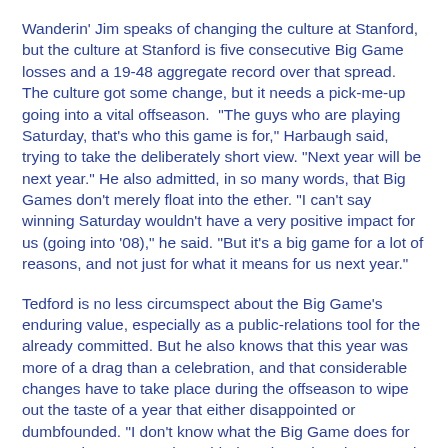Wanderin' Jim speaks of changing the culture at Stanford, but the culture at Stanford is five consecutive Big Game losses and a 19-48 aggregate record over that spread. The culture got some change, but it needs a pick-me-up going into a vital offseason.  "The guys who are playing Saturday, that's who this game is for," Harbaugh said, trying to take the deliberately short view. "Next year will be next year." He also admitted, in so many words, that Big Games don't merely float into the ether. "I can't say winning Saturday wouldn't have a very positive impact for us (going into '08)," he said. "But it's a big game for a lot of reasons, and not just for what it means for us next year."
Tedford is no less circumspect about the Big Game's enduring value, especially as a public-relations tool for the already committed. But he also knows that this year was more of a drag than a celebration, and that considerable changes have to take place during the offseason to wipe out the taste of a year that either disappointed or dumbfounded. "I don't know what the Big Game does for us over the summer," he said, "but I know how important it is to win it." He does not know what he's going into, but any...